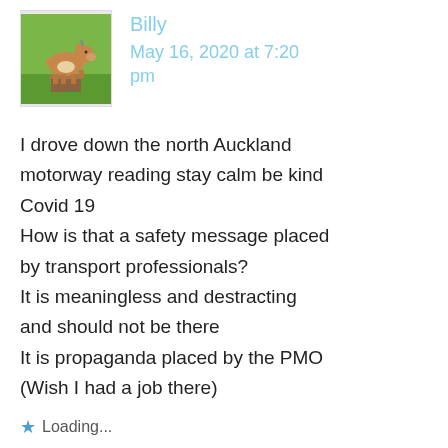[Figure (photo): Profile photo of a goat standing on a tree stump in a green field]
Billy
May 16, 2020 at 7:20 pm
I drove down the north Auckland motorway reading stay calm be kind Covid 19
How is that a safety message placed by transport professionals?
It is meaningless and destracting and should not be there
It is propaganda placed by the PMO
(Wish I had a job there)
Loading...